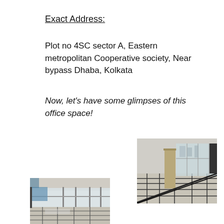Exact Address:
Plot no 4SC sector A, Eastern metropolitan Cooperative society, Near bypass Dhaba, Kolkata
Now, let's have some glimpses of this office space!
[Figure (photo): Interior of an office space showing tiled floor with dark grid pattern, glass walls/windows, and a column, with a city view in the background]
[Figure (photo): Interior of an office space showing tiled floor, glass doors/windows, and open space]